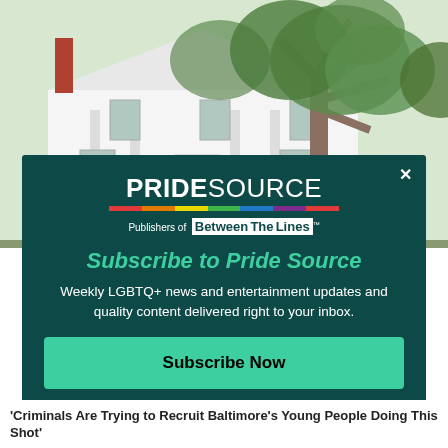[Figure (photo): Exterior photo of a white classical house with large tree in front against a light sky]
[Figure (infographic): Dark teal popup overlay with PrideSource logo (rainbow bar underneath), Publishers of Between The Lines tagline, Subscribe to Pride Source heading, subscription description, and Subscribe Now button]
'Criminals Are Trying to Recruit Baltimores Young People Doing This Shot'